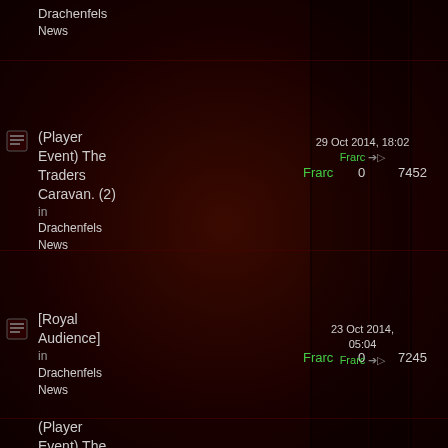(Player Event) The Traders Caravan. (2) in Drachenfels News — Author: Frarc, Replies: 0, Views: 7452, Last post: 29 Oct 2014, 18:02 by Frarc
[Royal Audience] in Drachenfels News — Author: Frarc, Replies: 0, Views: 7245, Last post: 23 Oct 2014, 05:04 by Frarc
(Player Event) The Gauntlet Returns! in Drachenfels News